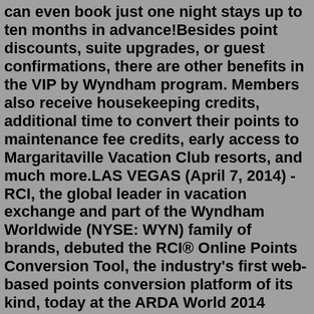can even book just one night stays up to ten months in advance!Besides point discounts, suite upgrades, or guest confirmations, there are other benefits in the VIP by Wyndham program. Members also receive housekeeping credits, additional time to convert their points to maintenance fee credits, early access to Margaritaville Vacation Club resorts, and much more.LAS VEGAS (April 7, 2014) - RCI, the global leader in vacation exchange and part of the Wyndham Worldwide (NYSE: WYN) family of brands, debuted the RCI® Online Points Conversion Tool, the industry's first web-based points conversion platform of its kind, today at the ARDA World 2014 Convention & Expo. This powerful marketing tool gives affiliates a simple and efficient way to demonstrate to ...Earn & Redeem Points. Wyndham Rewards members can earn 10 points per dollar or 1,000 points—whichever is more—on qualified stays and redeem points for free nights at 30+ Caesars Rewards ® destinations. * Resort fees apply at Caesars Rewards hotels and cannot be paid with